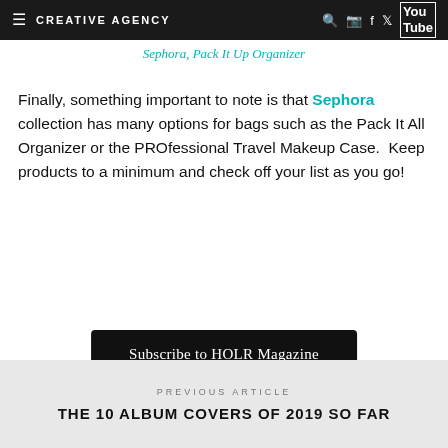CREATIVE AGENCY
Sephora, Pack It Up Organizer
Finally, something important to note is that Sephora collection has many options for bags such as the Pack It All Organizer or the PROfessional Travel Makeup Case.  Keep products to a minimum and check off your list as you go!
Subscribe to HOLR Magazine
PREVIOUS ARTICLE
THE 10 ALBUM COVERS OF 2019 SO FAR